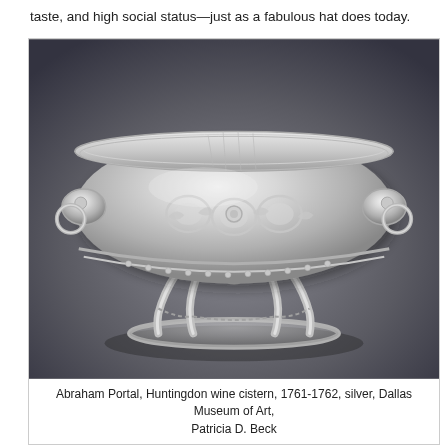taste, and high social status—just as a fabulous hat does today.
[Figure (photo): A large ornate silver wine cistern (Abraham Portal, Huntingdon wine cistern, 1761-1762) photographed against a dark gray background. The vessel has elaborate repousse decoration with scrolling acanthus leaves, lion-head handles with rings, and sits on four curved legs connected by chains, resting on an oval base.]
Abraham Portal, Huntingdon wine cistern, 1761-1762, silver, Dallas Museum of Art, Patricia D. Beck